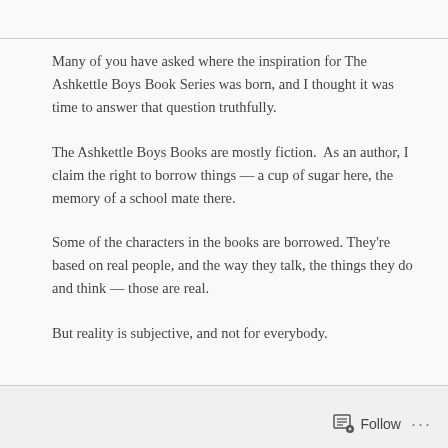Many of you have asked where the inspiration for The Ashkettle Boys Book Series was born, and I thought it was time to answer that question truthfully.
The Ashkettle Boys Books are mostly fiction. As an author, I claim the right to borrow things — a cup of sugar here, the memory of a school mate there.
Some of the characters in the books are borrowed. They're based on real people, and the way they talk, the things they do and think — those are real.
But reality is subjective, and not for everybody.
Follow